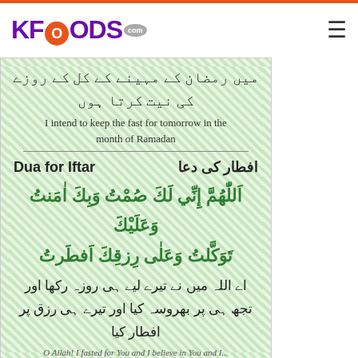KFOODS.com
[Figure (illustration): Islamic prayer card with light green background showing Niyyah (intention) for Ramadan fasting in Urdu and English, Dua for Iftar heading in both Urdu and English, Arabic dua text in green, Urdu translation, and partial English translation at the bottom.]